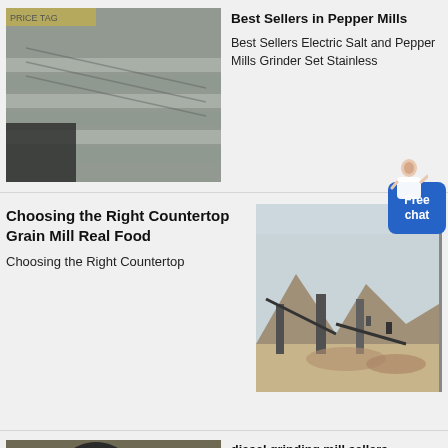[Figure (photo): Industrial conveyor belt / metal parts in a warehouse, gray corrugated steel panel visible.]
Best Sellers in Pepper Mills
Best Sellers Electric Salt and Pepper Mills Grinder Set Stainless
[Figure (illustration): Person (woman) in white coat, chat assistant icon with 'Free chat' blue button]
Choosing the Right Countertop Grain Mill Real Food
Choosing the Right Countertop
[Figure (photo): Outdoor quarry/mining site with conveyors, stone crushers, mountains in background.]
diesel grinding mill sellers bulawayo
Grinding Mill For Sale In Bulawayo
[Figure (photo): Industrial grinding mill machinery in a factory setting, large cylindrical equipment visible.]